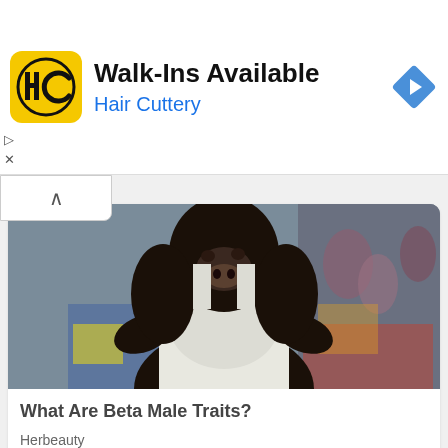[Figure (other): Hair Cuttery advertisement banner with HC logo (yellow/black), text 'Walk-Ins Available' and 'Hair Cuttery' in blue, and a blue navigation diamond icon on the right.]
[Figure (photo): A digitally composited image of a chimpanzee wearing a white tank top and chain necklace, standing in front of a colorful graffiti wall with a blurred urban background.]
What Are Beta Male Traits?
Herbeauty
[Figure (photo): Partial view of a sandy/earthy scene at the bottom of the page, partially cut off.]